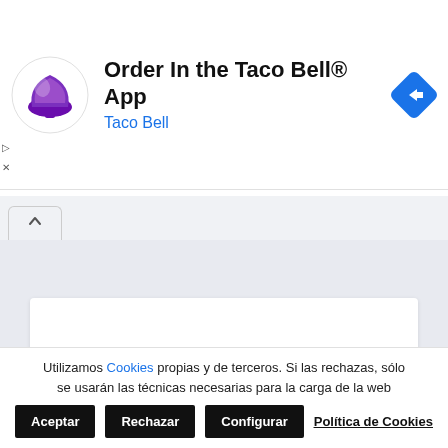[Figure (screenshot): Taco Bell app advertisement banner with purple bell logo, title 'Order In the Taco Bell® App', subtitle 'Taco Bell' in blue, and a blue diamond navigation arrow icon on the right]
[Figure (screenshot): Browser tab bar showing an active tab with a caret/chevron up icon]
[Figure (screenshot): Gray content area with a white card and a gray scroll-to-top button with chevron icon]
Utilizamos Cookies propias y de terceros. Si las rechazas, sólo se usarán las técnicas necesarias para la carga de la web
Aceptar   Rechazar   Configurar   Política de Cookies